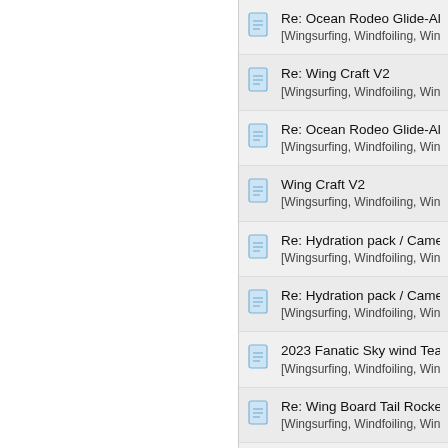Re: Ocean Rodeo Glide-Allula
[Wingsurfing, Windfoiling, Wing
Re: Wing Craft V2
[Wingsurfing, Windfoiling, Wing
Re: Ocean Rodeo Glide-Allula
[Wingsurfing, Windfoiling, Wing
Wing Craft V2
[Wingsurfing, Windfoiling, Wing
Re: Hydration pack / Camelbac
[Wingsurfing, Windfoiling, Wing
Re: Hydration pack / Camelbac
[Wingsurfing, Windfoiling, Wing
2023 Fanatic Sky wind Team E
[Wingsurfing, Windfoiling, Wing
Re: Wing Board Tail Rocker - T
[Wingsurfing, Windfoiling, Wing
Re: Plastic Buckles
[Wingsurfing, Windfoiling, Wing